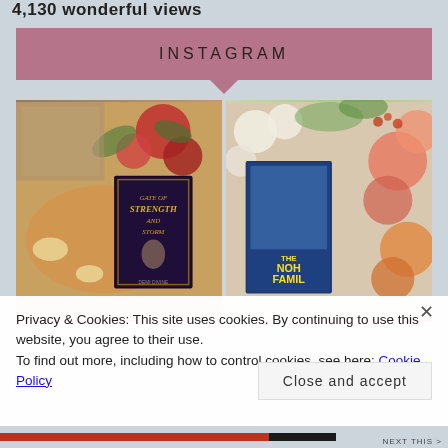4,130 wonderful views
INSTAGRAM
[Figure (photo): Two Instagram photos side by side: left shows a book 'Gate of Strength and Storm' on a wooden tray with candles and red flowers; right shows 'The Noh Family' book/manga cover with colorful flowers.]
Privacy & Cookies: This site uses cookies. By continuing to use this website, you agree to their use.
To find out more, including how to control cookies, see here: Cookie Policy
Close and accept